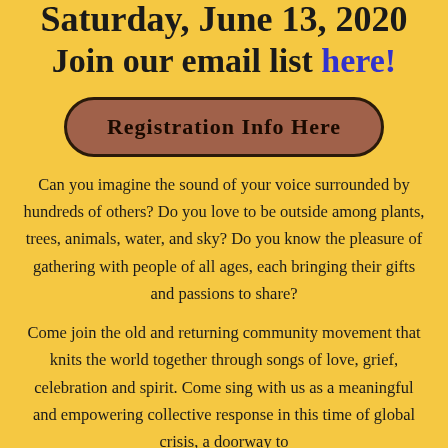Saturday, June 13, 2020
Join our email list here!
Registration Info Here
Can you imagine the sound of your voice surrounded by hundreds of others? Do you love to be outside among plants, trees, animals, water, and sky? Do you know the pleasure of gathering with people of all ages, each bringing their gifts and passions to share?
Come join the old and returning community movement that knits the world together through songs of love, grief, celebration and spirit. Come sing with us as a meaningful and empowering collective response in this time of global crisis, a doorway to